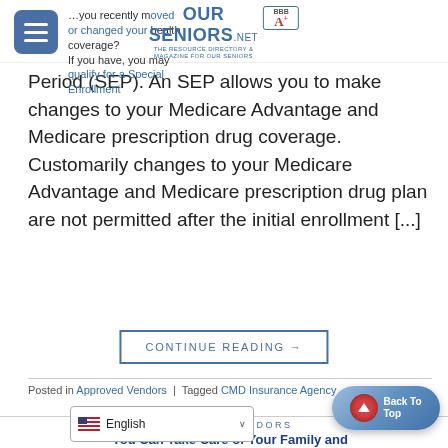OurSeniors.net — The Resource Directory & Magazine for Our Seniors
...you recently moved or changed your health coverage? If you have, you may qualify for a Special Enrollment Period (SEP). An SEP allows you to make changes to your Medicare Advantage and Medicare prescription drug coverage. Customarily changes to your Medicare Advantage and Medicare prescription drug plan are not permitted after the initial enrollment [...]
CONTINUE READING →
Posted in Approved Vendors | Tagged CMD Insurance Agency
Leave a comment
APPROVED VENDORS
You Can Take Care of Your Family and Your Assets with One Simple Thing